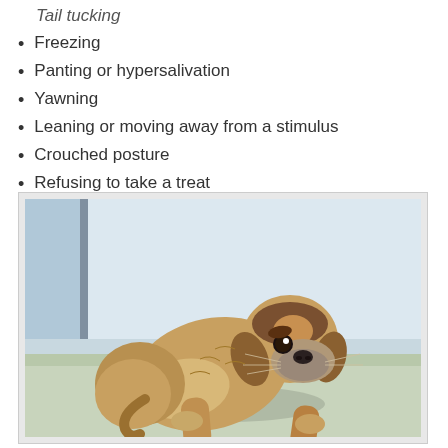Tail tucking
Freezing
Panting or hypersalivation
Yawning
Leaning or moving away from a stimulus
Crouched posture
Refusing to take a treat
[Figure (photo): A small tan and brown puppy in a crouched, fearful posture on a light blue surface, looking at the camera with a worried expression. The puppy's body is low and hunched demonstrating crouched posture behavior.]